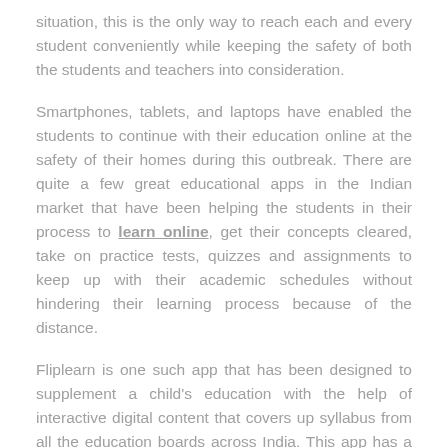situation, this is the only way to reach each and every student conveniently while keeping the safety of both the students and teachers into consideration.
Smartphones, tablets, and laptops have enabled the students to continue with their education online at the safety of their homes during this outbreak. There are quite a few great educational apps in the Indian market that have been helping the students in their process to learn online, get their concepts cleared, take on practice tests, quizzes and assignments to keep up with their academic schedules without hindering their learning process because of the distance.
Fliplearn is one such app that has been designed to supplement a child's education with the help of interactive digital content that covers up syllabus from all the education boards across India. This app has a diversified collection of learning content that covers up the portion